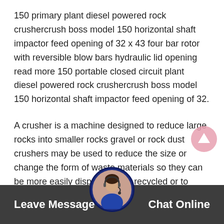150 primary plant diesel powered rock crushercrush boss model 150 horizontal shaft impactor feed opening of 32 x 43 four bar rotor with reversible blow bars hydraulic lid opening read more 150 portable closed circuit plant diesel powered rock crushercrush boss model 150 horizontal shaft impactor feed opening of 32.
A crusher is a machine designed to reduce large rocks into smaller rocks gravel or rock dust crushers may be used to reduce the size or change the form of waste materials so they can be more easily disposed of or recycled or to reduce the size of a solid mix of raw materials as in rock ore so that pieces of diffe position can be differentiated.
Leave Message   Chat Online